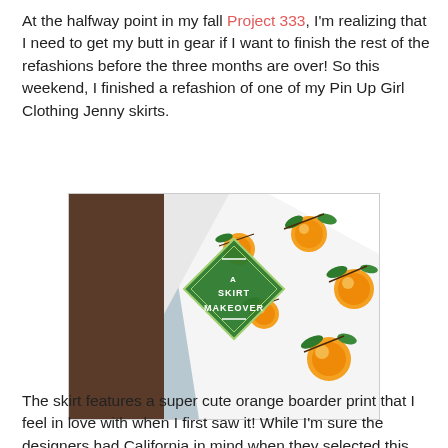At the halfway point in my fall Project 333, I'm realizing that I need to get my butt in gear if I want to finish the rest of the refashions before the three months are over! So this weekend, I finished a refashion of one of my Pin Up Girl Clothing Jenny skirts.
[Figure (photo): Photo of a white skirt with an orange/citrus border print pattern featuring oranges and green leaves on branches. A green diamond-shaped badge overlay reads 'A SKIRT MAKEOVER'.]
The skirt features a super cute orange boarder print that I feel in love with when I first saw it! While I'm sure the designers had California in mind when they selected this